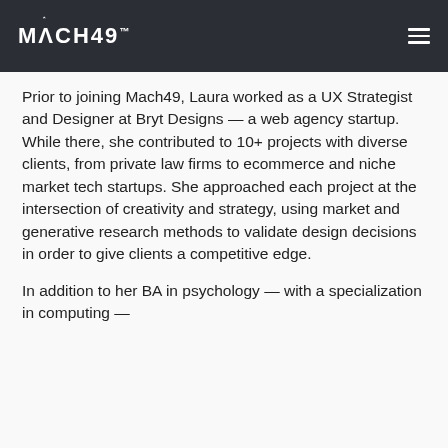MACH49
Prior to joining Mach49, Laura worked as a UX Strategist and Designer at Bryt Designs — a web agency startup. While there, she contributed to 10+ projects with diverse clients, from private law firms to ecommerce and niche market tech startups. She approached each project at the intersection of creativity and strategy, using market and generative research methods to validate design decisions in order to give clients a competitive edge.
In addition to her BA in psychology — with a specialization in computing —